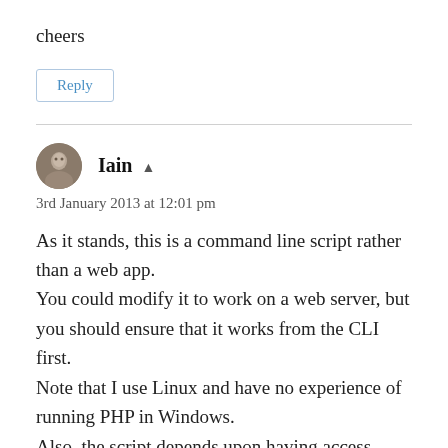cheers
Reply
Iain
3rd January 2013 at 12:01 pm
As it stands, this is a command line script rather than a web app.
You could modify it to work on a web server, but you should ensure that it works from the CLI first.
Note that I use Linux and have no experience of running PHP in Windows.
Also, the script depends upon having access